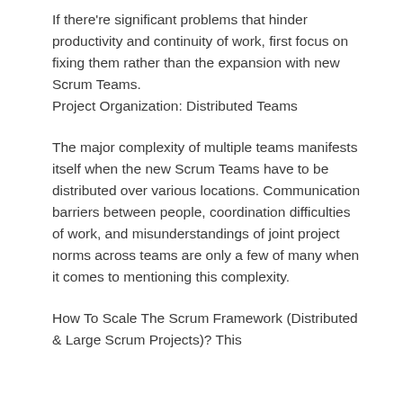If there're significant problems that hinder productivity and continuity of work, first focus on fixing them rather than the expansion with new Scrum Teams.
Project Organization: Distributed Teams
The major complexity of multiple teams manifests itself when the new Scrum Teams have to be distributed over various locations. Communication barriers between people, coordination difficulties of work, and misunderstandings of joint project norms across teams are only a few of many when it comes to mentioning this complexity.
How To Scale The Scrum Framework (Distributed & Large Scrum Projects)? This